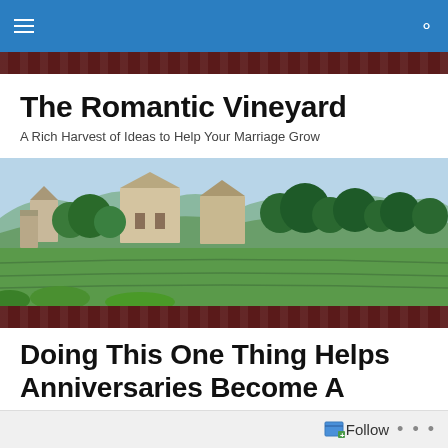Navigation bar with menu and search icons
The Romantic Vineyard
A Rich Harvest of Ideas to Help Your Marriage Grow
[Figure (photo): Panoramic view of a vineyard estate with stone buildings, trees, green fields, and rolling hills in the background under a light sky]
Doing This One Thing Helps Anniversaries Become A Lasting Memory
Follow